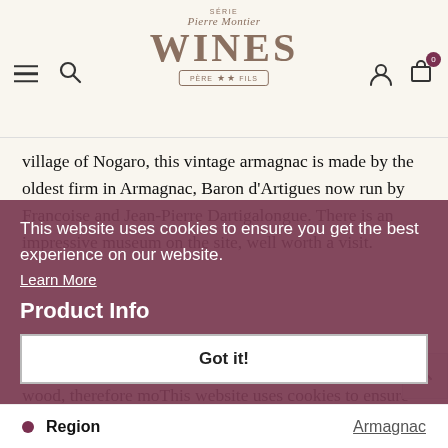Pierre Montier WINES — navigation header with logo
village of Nogaro, this vintage armagnac is made by the oldest firm in Armagnac, Baron d'Artigues now run by Francoise and Jean-Pierre Dartigalongue. There is an impressive museum on the site, well worth a visit.
Armagnac is mostly made with a grape called Ugni Blanc, and is distilled only once and aged in a different wood, therefore mo[re...] vintage is fro[m...]
Product Info
This website uses cookies to ensure you get the best experience on our website.
Learn More
Got it!
|  | Region | Link |
| --- | --- | --- |
| ● | Region | Armagnac |